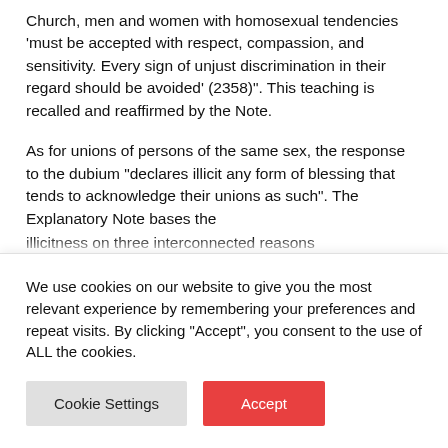Church, men and women with homosexual tendencies 'must be accepted with respect, compassion, and sensitivity. Every sign of unjust discrimination in their regard should be avoided' (2358)". This teaching is recalled and reaffirmed by the Note.
As for unions of persons of the same sex, the response to the dubium “declares illicit any form of blessing that tends to acknowledge their unions as such”. The Explanatory Note bases the illicitness on three interconnected reasons
We use cookies on our website to give you the most relevant experience by remembering your preferences and repeat visits. By clicking “Accept”, you consent to the use of ALL the cookies.
Cookie Settings
Accept